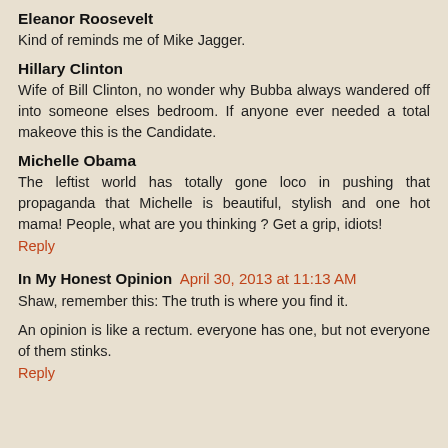Eleanor Roosevelt
Kind of reminds me of Mike Jagger.
Hillary Clinton
Wife of Bill Clinton, no wonder why Bubba always wandered off into someone elses bedroom. If anyone ever needed a total makeove this is the Candidate.
Michelle Obama
The leftist world has totally gone loco in pushing that propaganda that Michelle is beautiful, stylish and one hot mama! People, what are you thinking ? Get a grip, idiots!
Reply
In My Honest Opinion April 30, 2013 at 11:13 AM
Shaw, remember this: The truth is where you find it.
An opinion is like a rectum. everyone has one, but not everyone of them stinks.
Reply